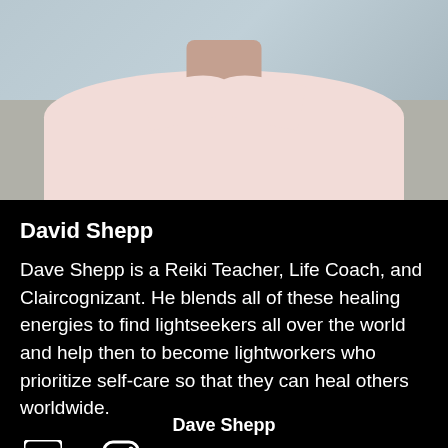[Figure (photo): Photo of David Shepp, a man wearing a light pink collared shirt, photographed from the shoulders up against a muted background.]
David Shepp
Dave Shepp is a Reiki Teacher, Life Coach, and Claircognizant. He blends all of these healing energies to find lightseekers all over the world and help then to become lightworkers who prioritize self-care so that they can heal others worldwide.
[Figure (other): Facebook and Instagram social media icons]
Dave Shepp